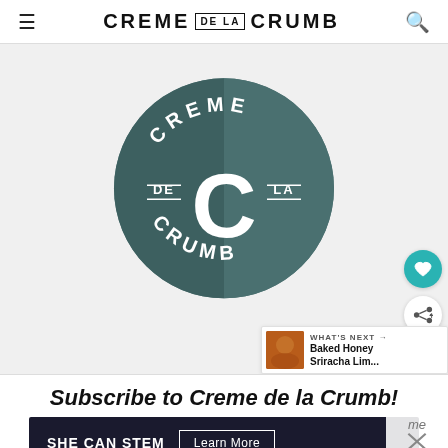CREME DE LA CRUMB
[Figure (logo): Creme de la Crumb circular logo with teal background, large C in center, text CREME at top, DE and LA on sides, CRUMB at bottom]
Subscribe to Creme de la Crumb!
[Figure (screenshot): SHE CAN STEM advertisement banner with Learn More button]